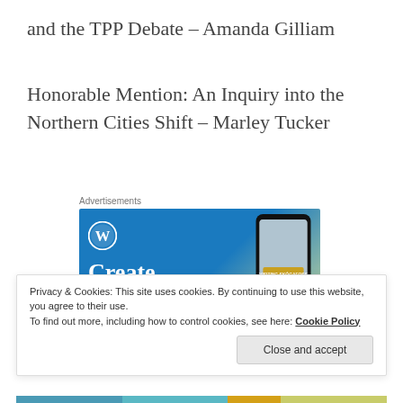and the TPP Debate – Amanda Gilliam
Honorable Mention: An Inquiry into the Northern Cities Shift – Marley Tucker
Advertisements
[Figure (photo): WordPress advertisement showing the WordPress logo, a phone displaying a travel blog post titled 'Visiting Skógafoss', and the text 'Create immersive' on a blue gradient background.]
Privacy & Cookies: This site uses cookies. By continuing to use this website, you agree to their use.
To find out more, including how to control cookies, see here: Cookie Policy
Close and accept